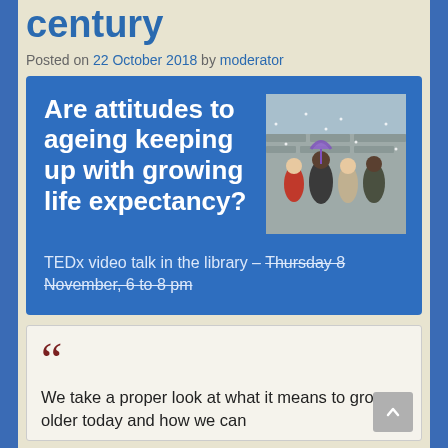century
Posted on 22 October 2018 by moderator
[Figure (infographic): Blue promotional card with white bold heading 'Are attitudes to ageing keeping up with growing life expectancy?' alongside a photo of a family walking in snow, and body text 'TEDx video talk in the library – Thursday 8 November, 6 to 8 pm' with Thursday 8 November, 6 to 8 pm struck through.]
We take a proper look at what it means to grow older today and how we can...